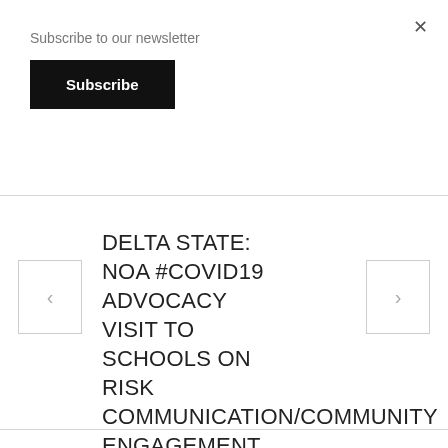Subscribe to our newsletter
Subscribe
DELTA STATE: NOA #COVID19 ADVOCACY VISIT TO SCHOOLS ON RISK COMMUNICATION/COMMUNITY ENGAGEMENT